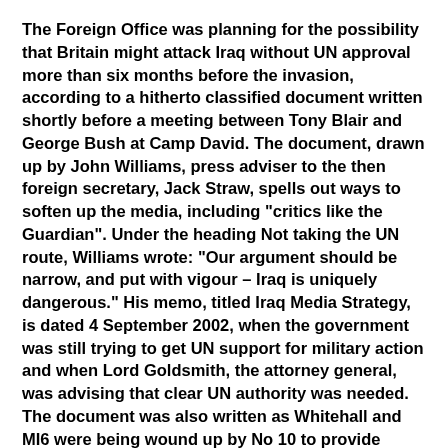The Foreign Office was planning for the possibility that Britain might attack Iraq without UN approval more than six months before the invasion, according to a hitherto classified document written shortly before a meeting between Tony Blair and George Bush at Camp David. The document, drawn up by John Williams, press adviser to the then foreign secretary, Jack Straw, spells out ways to soften up the media, including "critics like the Guardian". Under the heading Not taking the UN route, Williams wrote: "Our argument should be narrow, and put with vigour – Iraq is uniquely dangerous." His memo, titled Iraq Media Strategy, is dated 4 September 2002, when the government was still trying to get UN support for military action and when Lord Goldsmith, the attorney general, was advising that clear UN authority was needed. The document was also written as Whitehall and MI6 were being wound up by No 10 to provide much-needed ammunition for the government's Iraq weapons dossier.
And just when some truths about Blair might be publicly